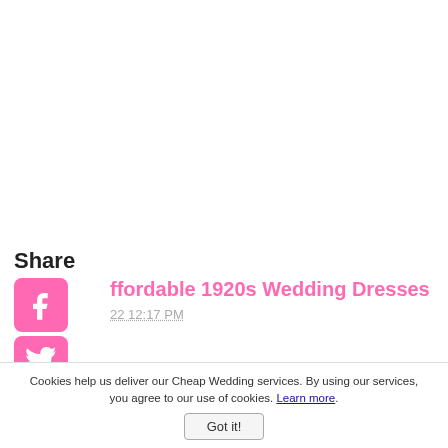Share
[Figure (infographic): Social media share buttons: Facebook, Twitter, Pinterest, Tumblr, Reddit, WhatsApp — each as a pink rounded square icon with white logo]
ffordable 1920s Wedding Dresses
22 12:17 PM
[Figure (other): Left-pointing triangle back arrow]
Cookies help us deliver our Cheap Wedding services. By using our services, you agree to our use of cookies. Learn more.
Got it!